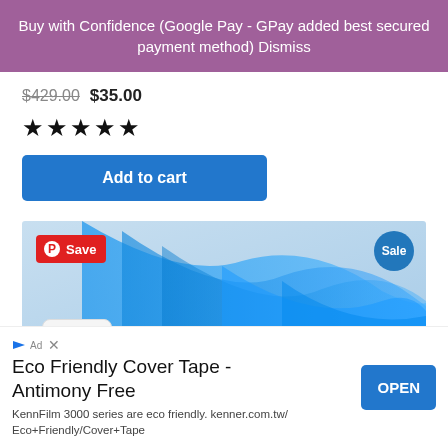Buy with Confidence (Google Pay - GPay added best secured payment method) Dismiss
$429.00 $35.00
★★★★★
Add to cart
[Figure (photo): Product image showing abstract blue wave design on light blue background, with a red Pinterest Save badge in the top-left and a blue Sale badge in the top-right]
Eco Friendly Cover Tape - Antimony Free
KennFilm 3000 series are eco friendly. kenner.com.tw/Eco+Friendly/Cover+Tape
OPEN